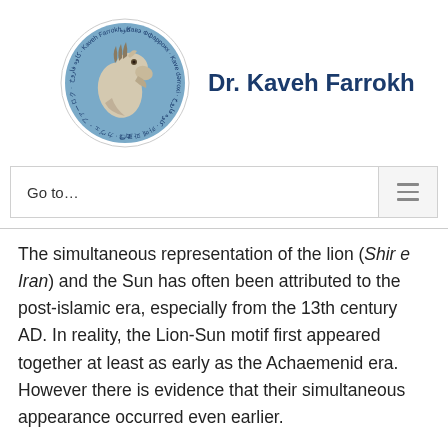[Figure (logo): Circular logo with a horse head sculpture (Persepolis-style) in a blue circle, surrounded by text in multiple scripts reading 'Kaveh Farrokh' in various languages]
Dr. Kaveh Farrokh
Go to...
The simultaneous representation of the lion (Shir e Iran) and the Sun has often been attributed to the post-islamic era, especially from the 13th century AD. In reality, the Lion-Sun motif first appeared together at least as early as the Achaemenid era. However there is evidence that their simultaneous appearance occurred even earlier.